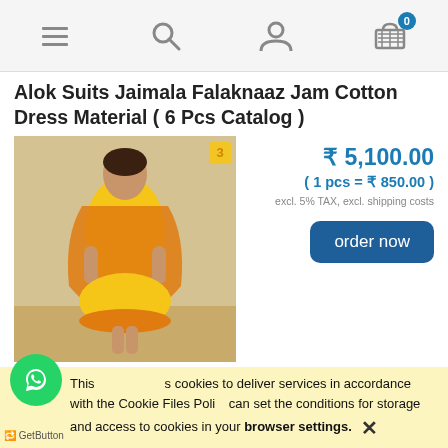Navigation bar with menu, search, account, and cart (0 items)
Alok Suits Jaimala Falaknaaz Jam Cotton Dress Material ( 6 Pcs Catalog )
[Figure (photo): Woman in yellow and orange salwar kameez dress]
₹ 5,100.00
( 1 pcs = ₹ 850.00 )
excl. 5% TAX, excl. shipping costs
order now
Alok Suits Classic Touch Jam Cotton With Lucknowi
This uses cookies to deliver services in accordance with the Cookie Files Policy. You can set the conditions for storage and access to cookies in your browser settings.